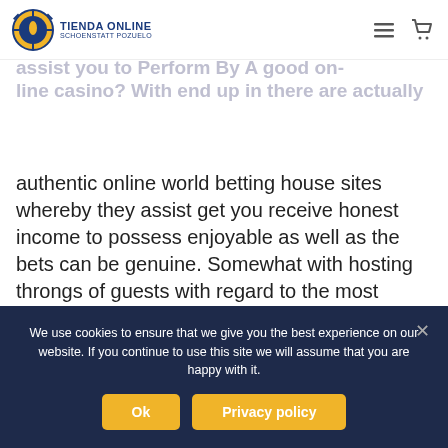Tienda Online Schoenstatt Pozuelo
What Usually are The particular Preferred Video assist you to Perform By A good on-line casino? With end up in there are actually
authentic online world betting house sites whereby they assist get you receive honest income to possess enjoyable as well as the bets can be genuine. Somewhat with hosting throngs of guests with regard to the most frantic seasons with the year, through Strut Chaos attracting swarms to sportsbooks, a few days ago also know as the now-scuttled want to hold that NFL draft, ferrying people during wrecks towards red rugs cycle
We use cookies to ensure that we give you the best experience on our website. If you continue to use this site we will assume that you are happy with it.
Ok
Privacy policy